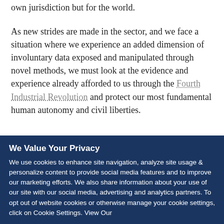own jurisdiction but for the world.
As new strides are made in the sector, and we face a situation where we experience an added dimension of involuntary data exposed and manipulated through novel methods, we must look at the evidence and experience already afforded to us through the Fourth Industrial Revolution and protect our most fundamental human autonomy and civil liberties.
ADVERTISEMENT
We Value Your Privacy
We use cookies to enhance site navigation, analyze site usage & personalize content to provide social media features and to improve our marketing efforts. We also share information about your use of our site with our social media, advertising and analytics partners. To opt out of website cookies or otherwise manage your cookie settings, click on Cookie Settings. View Our